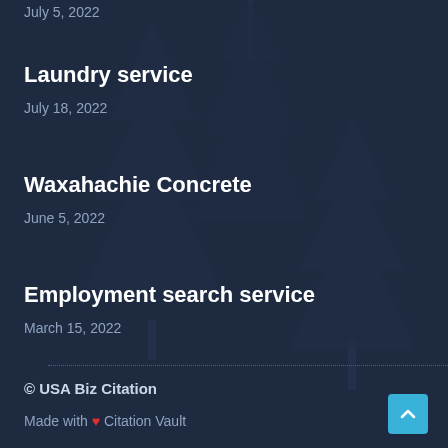July 5, 2022
Laundry service
July 18, 2022
Waxahachie Concrete
June 5, 2022
Employment search service
March 15, 2022
© USA Biz Citation
Made with ❤ Citation Vault